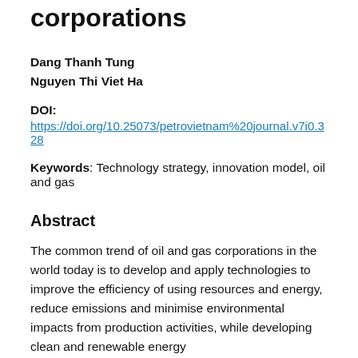corporations
Dang Thanh Tung
Nguyen Thi Viet Ha
DOI: https://doi.org/10.25073/petrovietnam%20journal.v7i0.328
Keywords: Technology strategy, innovation model, oil and gas
Abstract
The common trend of oil and gas corporations in the world today is to develop and apply technologies to improve the efficiency of using resources and energy, reduce emissions and minimise environmental impacts from production activities, while developing clean and renewable energy